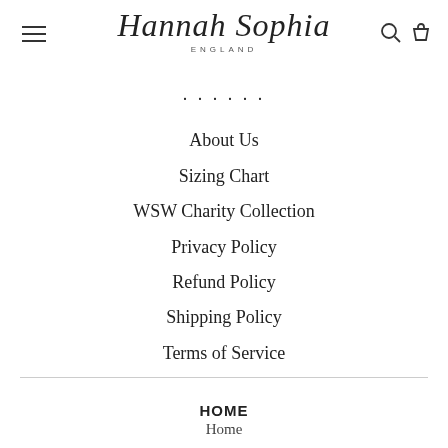[Figure (logo): Hannah Sophia England cursive script logo with hamburger menu icon on left and search/cart icons on right]
......
About Us
Sizing Chart
WSW Charity Collection
Privacy Policy
Refund Policy
Shipping Policy
Terms of Service
HOME